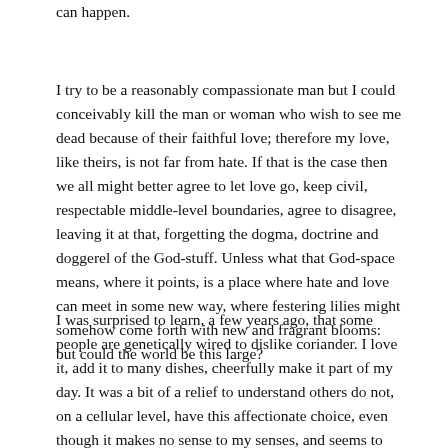can happen.
I try to be a reasonably compassionate man but I could conceivably kill the man or woman who wish to see me dead because of their faithful love; therefore my love, like theirs, is not far from hate. If that is the case then we all might better agree to let love go, keep civil, respectable middle-level boundaries, agree to disagree, leaving it at that, forgetting the dogma, doctrine and doggerel of the God-stuff. Unless what that God-space means, where it points, is a place where hate and love can meet in some new way, where festering lilies might somehow come forth with new and fragrant blooms: but could the world be this large?
I was surprised to learn, a few years ago, that some people are genetically wired to dislike coriander. I love it, add it to many dishes, cheerfully make it part of my day. It was a bit of a relief to understand others do not, on a cellular level, have this affectionate choice, even though it makes no sense to my senses, and seems to make their lives a lesser paradise of the delights I live with. I think it is the same with sex; there is a